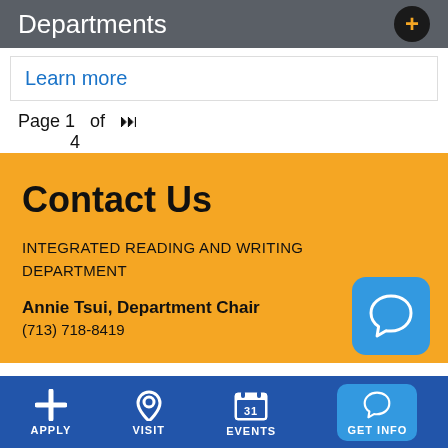Departments
Learn more
Page 1  of  4
Contact Us
INTEGRATED READING AND WRITING DEPARTMENT
Annie Tsui, Department Chair
(713) 718-8419
APPLY   VISIT   EVENTS   GET INFO